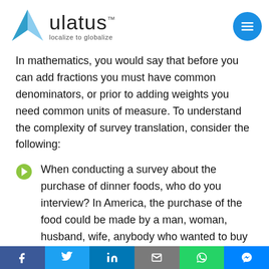ulatus – localize to globalize
In mathematics, you would say that before you can add fractions you must have common denominators, or prior to adding weights you need common units of measure. To understand the complexity of survey translation, consider the following:
When conducting a survey about the purchase of dinner foods, who do you interview? In America, the purchase of the food could be made by a man, woman, husband, wife, anybody who wanted to buy food. This would not be the case in many cultures where shopping is almost always done by the wife or mother. If not properly addressed, the questions will be read with a
Share bar: Facebook, Twitter, LinkedIn, Email, WhatsApp, Messenger